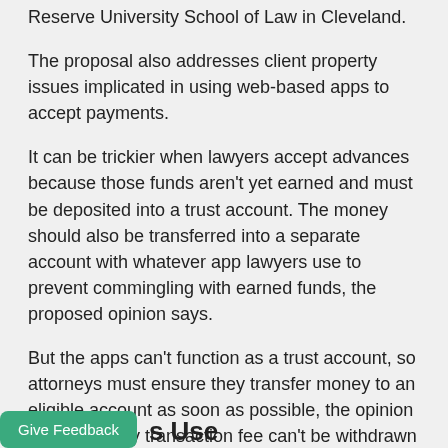Reserve University School of Law in Cleveland.
The proposal also addresses client property issues implicated in using web-based apps to accept payments.
It can be trickier when lawyers accept advances because those funds aren’t yet earned and must be deposited into a trust account. The money should also be transferred into a separate account with whatever app lawyers use to prevent commingling with earned funds, the proposed opinion says.
But the apps can’t function as a trust account, so attorneys must ensure they transfer money to an eligible account as soon as possible, the opinion says. And any transaction fee can’t be withdrawn from the trust money.
s Use